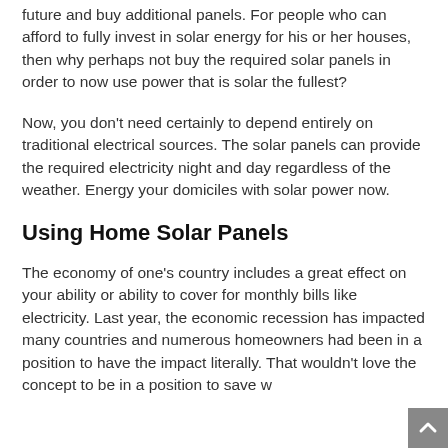future and buy additional panels. For people who can afford to fully invest in solar energy for his or her houses, then why perhaps not buy the required solar panels in order to now use power that is solar the fullest?
Now, you don't need certainly to depend entirely on traditional electrical sources. The solar panels can provide the required electricity night and day regardless of the weather. Energy your domiciles with solar power now.
Using Home Solar Panels
The economy of one's country includes a great effect on your ability or ability to cover for monthly bills like electricity. Last year, the economic recession has impacted many countries and numerous homeowners had been in a position to have the impact literally. That wouldn't love the concept to be in a position to save w...